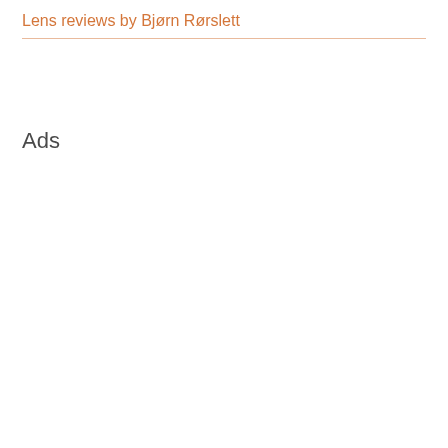Lens reviews by Bjørn Rørslett
Ads